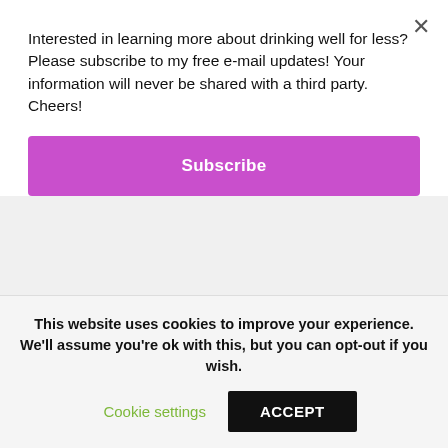Interested in learning more about drinking well for less? Please subscribe to my free e-mail updates! Your information will never be shared with a third party. Cheers!
Subscribe
Don't Miss An Ounce! Please Subscribe for Free E-mail Updates.
E-mail
unsubscribe
Subscribe
This website uses cookies to improve your experience. We'll assume you're ok with this, but you can opt-out if you wish.
Cookie settings
ACCEPT